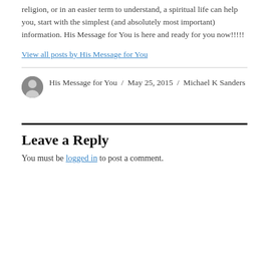religion, or in an easier term to understand, a spiritual life can help you, start with the simplest (and absolutely most important) information. His Message for You is here and ready for you now!!!!!
View all posts by His Message for You
His Message for You / May 25, 2015 / Michael K Sanders
Leave a Reply
You must be logged in to post a comment.